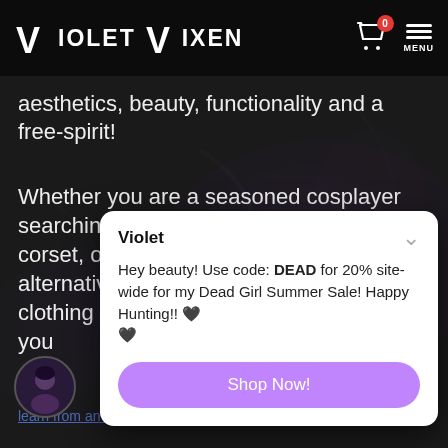Violet Vixen
aesthetics, beauty, functionality and a free-spirit!
Whether you are a seasoned cosplayer searching for an authentic steel-boned corset, or you have just begun exploring alternative fashion and want some cute clothing and accessories, we can help you
Violet
Hey beauty! Use code: DEAD for 20% site-wide for my Dead Girl Summer Sale! Happy Hunting!! 🖤🖤
Shop Now!